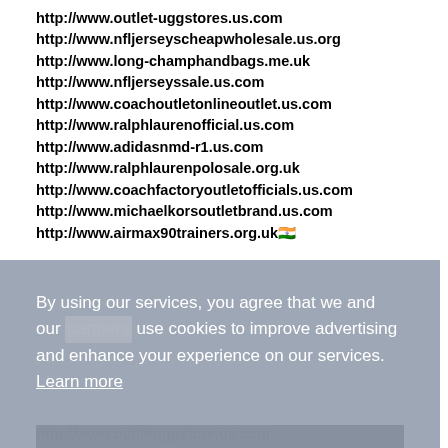http://www.outlet-uggstores.us.com
http://www.nfljerseyscheapwholesale.us.org
http://www.long-champhandbags.me.uk
http://www.nfljerseyssale.us.com
http://www.coachoutletonlineoutlet.us.com
http://www.ralphlaurenofficial.us.com
http://www.adidasnmd-r1.us.com
http://www.ralphlaurenpolosale.org.uk
http://www.coachfactoryoutletofficials.us.com
http://www.michaelkorsoutletbrand.us.com
http://www.airmax90trainers.org.uk
By using our services, you agree that we and our [partners] use cookies to improve advertising and enhance your experience on our services. Learn more
OK
http://www.outletuggstore.us.com